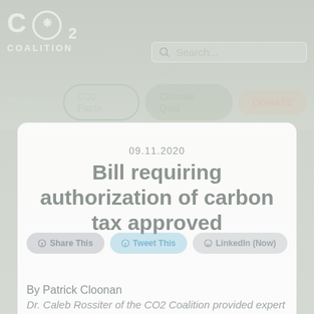CO2 COALITION
Search...
≡ MENU  CO2 Facts  Climate Quiz  DONATE
09.11.2020
Bill requiring authorization of carbon tax approved
Share This  Tweet This  LinkedIn (Now)
By Patrick Cloonan
Dr. Caleb Rossiter of the CO2 Coalition provided expert